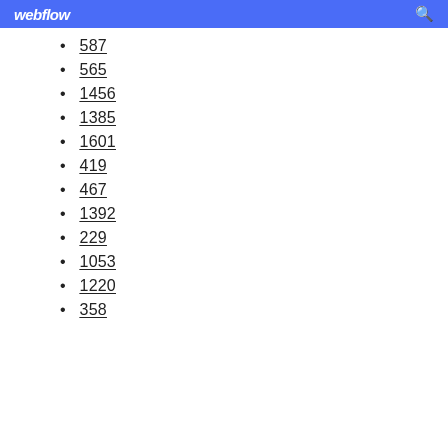webflow
587
565
1456
1385
1601
419
467
1392
229
1053
1220
358